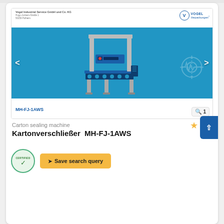[Figure (photo): Industrial carton sealing machine (model MH-FJ-1AWS) shown in a product listing image viewer. The machine is blue and grey, featuring a conveyor base and an overhead sealing gantry. Shown against a blue background. The viewer includes a Vogel Verpackungen company logo, left/right navigation arrows, model label 'MH-FJ-1AWS', and a zoom badge showing '1'.]
Carton sealing machine
Kartonverschließer  MH-FJ-1AWS
[Figure (logo): Certified badge — circular green badge with 'CERTIFIED' text and checkmark]
Save search query